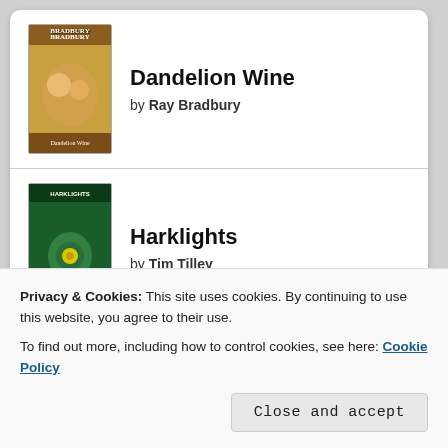Dandelion Wine by Ray Bradbury
Harklights by Tim Tilley
We Were the Mulvaneys by Joyce Carol Oates
The Ground Beneath Her Feet (partially visible)
Privacy & Cookies: This site uses cookies. By continuing to use this website, you agree to their use.
To find out more, including how to control cookies, see here: Cookie Policy
Close and accept